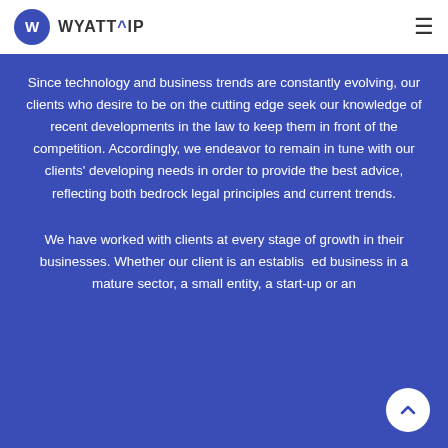WYATT^IP
Since technology and business trends are constantly evolving, our clients who desire to be on the cutting edge seek our knowledge of recent developments in the law to keep them in front of the competition. Accordingly, we endeavor to remain in tune with our clients' developing needs in order to provide the best advice, reflecting both bedrock legal principles and current trends.
We have worked with clients at every stage of growth in their businesses. Whether our client is an established business in a mature sector, a small entity, a start-up or an